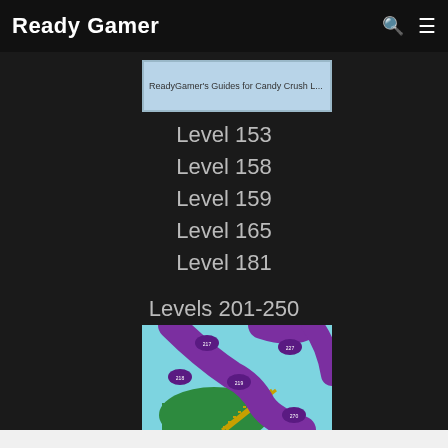Ready Gamer
[Figure (screenshot): Thumbnail image with text: ReadyGamer's Guides for Candy Crush L...]
Level 153
Level 158
Level 159
Level 165
Level 181
Levels 201-250
[Figure (screenshot): Game map screenshot showing Candy Crush levels 201-250 area with purple paths and numbered level nodes on a colorful background.]